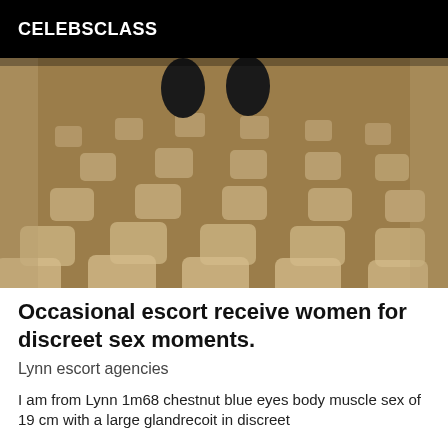CELEBSCLASS
[Figure (photo): A downward-looking photo of a tiled floor with a brown/golden checkered pattern and small white square tiles. Two dark shoes/feet are visible at the top of the image.]
Occasional escort receive women for discreet sex moments.
Lynn escort agencies
I am from Lynn 1m68 chestnut blue eyes body muscle sex of 19 cm with a large glandrecoit in discreet